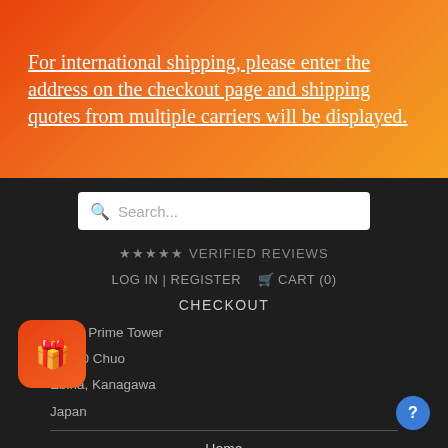For international shipping, please enter the address on the checkout page and shipping quotes from multiple carriers will be displayed.
Search...
★★★★★ VERIFIED REVIEWS
LOG IN | REGISTER  🛒 CART (0)
CHECKOUT
Ebina Prime Tower
2-9-50 Chuo
Ebina, Kanagawa
Japan
Home
About Us